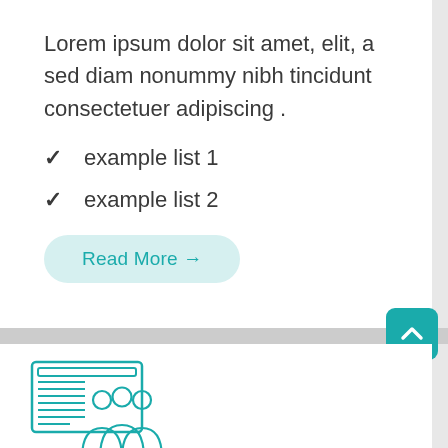Lorem ipsum dolor sit amet, elit, a sed diam nonummy nibh tincidunt consectetuer adipiscing .
✓  example list 1
✓  example list 2
Read More →
[Figure (illustration): Teal/cyan icon of a webpage with three people figures standing in front of it, representing a team or users portal.]